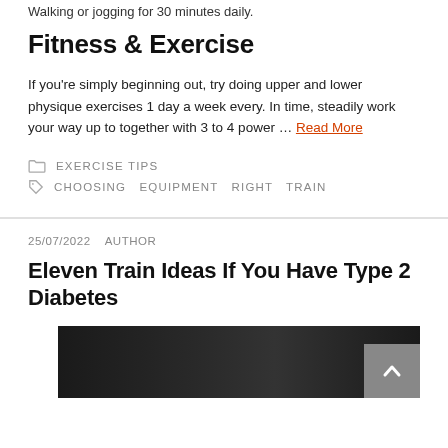Walking or jogging for 30 minutes daily.
Fitness & Exercise
If you're simply beginning out, try doing upper and lower physique exercises 1 day a week every. In time, steadily work your way up to together with 3 to 4 power … Read More
EXERCISE TIPS
CHOOSING   EQUIPMENT   RIGHT   TRAIN
25/07/2022   AUTHOR
Eleven Train Ideas If You Have Type 2 Diabetes
[Figure (photo): Photo strip showing exercise or fitness related image, partially visible at bottom of page]